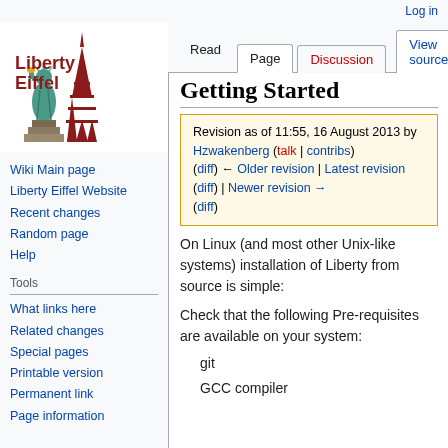Log in
[Figure (logo): Liberty Eiffel wiki logo showing Statue of Liberty and Eiffel Tower with text 'Liberty Eiffel']
Wiki Main page
Liberty Eiffel Website
Recent changes
Random page
Help
Tools
What links here
Related changes
Special pages
Printable version
Permanent link
Page information
Getting Started
Revision as of 11:55, 16 August 2013 by Hzwakenberg (talk | contribs)
(diff) ← Older revision | Latest revision (diff) | Newer revision → (diff)
On Linux (and most other Unix-like systems) installation of Liberty from source is simple:
Check that the following Pre-requisites are available on your system:
git
GCC compiler